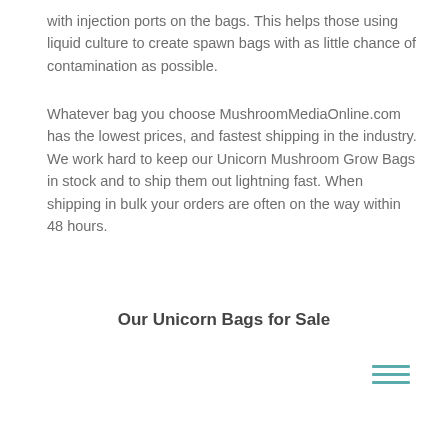with injection ports on the bags. This helps those using liquid culture to create spawn bags with as little chance of contamination as possible.
Whatever bag you choose MushroomMediaOnline.com has the lowest prices, and fastest shipping in the industry. We work hard to keep our Unicorn Mushroom Grow Bags in stock and to ship them out lightning fast. When shipping in bulk your orders are often on the way within 48 hours.
Our Unicorn Bags for Sale